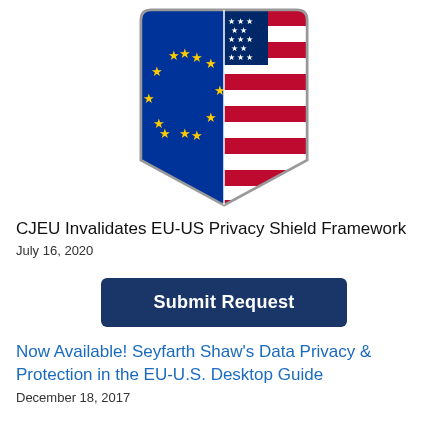[Figure (illustration): Shield logo split in half: left side blue with yellow EU stars arranged in a circle, right side showing US flag with red and white horizontal stripes and white stars on blue field. Shield has a pointed bottom and a thin border outline.]
CJEU Invalidates EU-US Privacy Shield Framework
July 16, 2020
[Figure (other): Dark navy blue rounded rectangle button labeled 'Submit Request' in bold white text]
Now Available! Seyfarth Shaw's Data Privacy & Protection in the EU-U.S. Desktop Guide
December 18, 2017